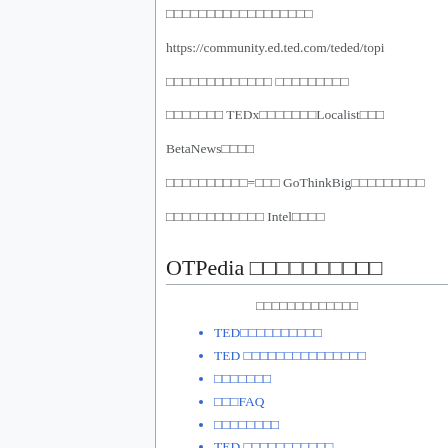□□□□□□□□□□□□□□□□□□
https://community.ed.ted.com/teded/topi…
□□□□□□□□□□□□□ □□□□□□□□□
□□□□□□□ TEDx□□□□□□□Localist□□□
BetaNews□□□□
□□□□□□□□□□=□□□ GoThinkBig□□□□□□□□□
□□□□□□□□□□□□ Intel□□□□
OTPedia □□□□□□□□□□
□□□□□□□□□□□□□
TED□□□□□□□□□□
TED □□□□□□□□□□□□□□□
□□□□□□□
□□□FAQ
□□□□□□□□
TED □□□□□□□□□□□
□□□□□□□□□